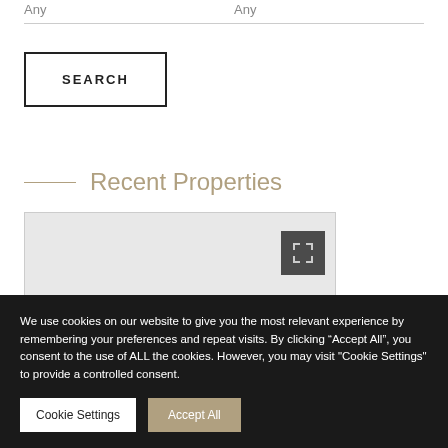Any   Any
SEARCH
Recent Properties
[Figure (screenshot): Property listing thumbnail card with expand/fullscreen icon button in the top right corner]
We use cookies on our website to give you the most relevant experience by remembering your preferences and repeat visits. By clicking “Accept All”, you consent to the use of ALL the cookies. However, you may visit "Cookie Settings" to provide a controlled consent.
Cookie Settings   Accept All